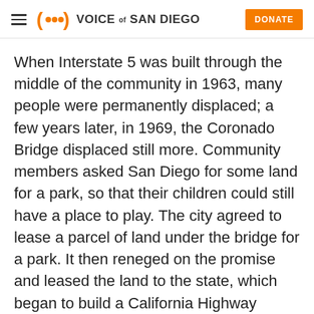≡ (•·•) VOICE of SAN DIEGO  DONATE
When Interstate 5 was built through the middle of the community in 1963, many people were permanently displaced; a few years later, in 1969, the Coronado Bridge displaced still more. Community members asked San Diego for some land for a park, so that their children could still have a place to play. The city agreed to lease a parcel of land under the bridge for a park. It then reneged on the promise and leased the land to the state, which began to build a California Highway Patrol substation there.